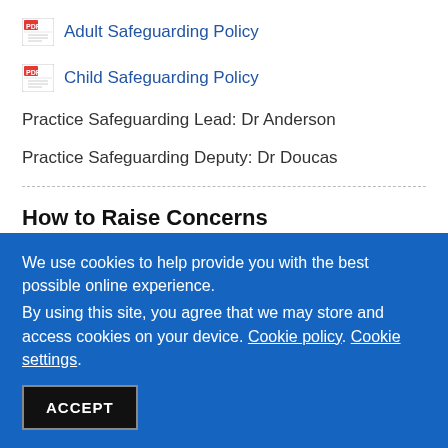Adult Safeguarding Policy
Child Safeguarding Policy
Practice Safeguarding Lead: Dr Anderson
Practice Safeguarding Deputy: Dr Doucas
How to Raise Concerns
If you are worried about a child or adult, and feel you want to
We use cookies to help provide you with the best possible online experience.
By using this site, you agree that we may store and access cookies on your device. Cookie policy. Cookie settings.
ACCEPT